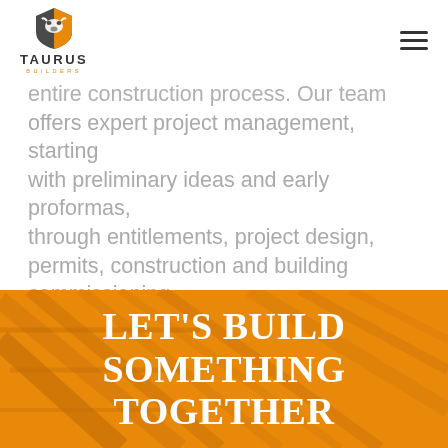[Figure (logo): Taurus Builders logo — shield icon with bull head in dark grey and orange, company name TAURUS in bold uppercase, BUILDERS in small orange spaced lettering below]
entire construction process. Our team offers expert project management, starting with preliminary ideas and early proformas, through entitlements, project design, permits, construction and building commissioning.
LET'S BUILD SOMETHING TOGETHER